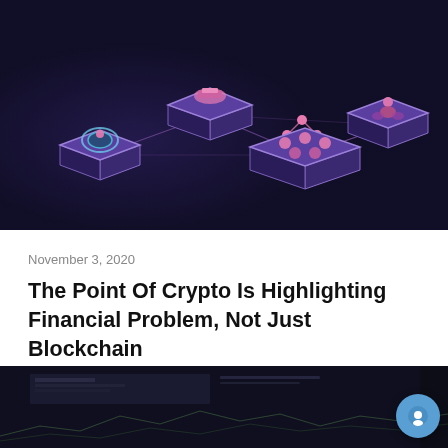[Figure (illustration): Dark purple/navy blockchain network illustration showing four glowing platform nodes connected by lines. Each node has a 3D isometric floating platform with small figurines or objects on top — a rider, a handshake, network nodes, and a figure — connected by pink/purple network lines on a dark indigo background.]
November 3, 2020
The Point Of Crypto Is Highlighting Financial Problem, Not Just Blockchain
[Figure (photo): Dark photo showing financial trading screens with chart lines, partially visible at bottom of page.]